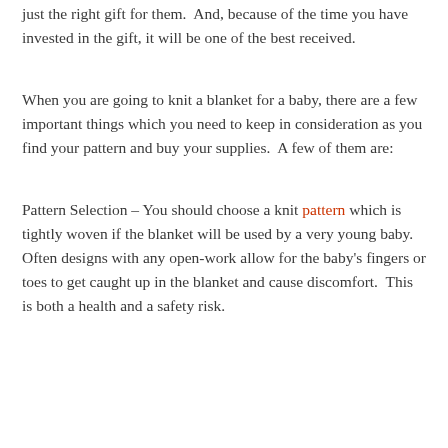just the right gift for them.  And, because of the time you have invested in the gift, it will be one of the best received.
When you are going to knit a blanket for a baby, there are a few important things which you need to keep in consideration as you find your pattern and buy your supplies.  A few of them are:
Pattern Selection – You should choose a knit pattern which is tightly woven if the blanket will be used by a very young baby.  Often designs with any open-work allow for the baby's fingers or toes to get caught up in the blanket and cause discomfort.  This is both a health and a safety risk.